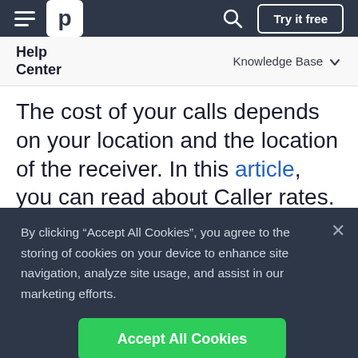p | Try it free
Help Center | Knowledge Base
The cost of your calls depends on your location and the location of the receiver. In this article, you can read about Caller rates.
By clicking “Accept All Cookies”, you agree to the storing of cookies on your device to enhance site navigation, analyze site usage, and assist in our marketing efforts.
Accept All Cookies